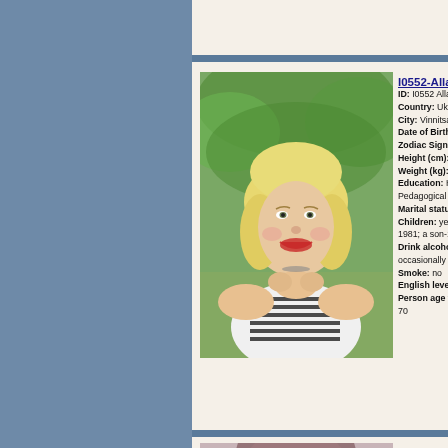I0552-Alla
ID: I0552 Alla
Country: Ukrain
City: Vinnitsa
Date of Birth: 3
Zodiac Sign: G
Height (cm): 15
Weight (kg): 61
Education: High Pedagogical Un
Marital status:
Children: yes (a 1981; a son-199
Drink alcohol: occasionally
Smoke: no
English level: b
Person age from 70
[Figure (photo): Blonde woman smiling, wearing striped sleeveless top, seated with hands clasped under chin, outdoors with green foliage background]
L0459-Svetla
ID: L0459 Svetla